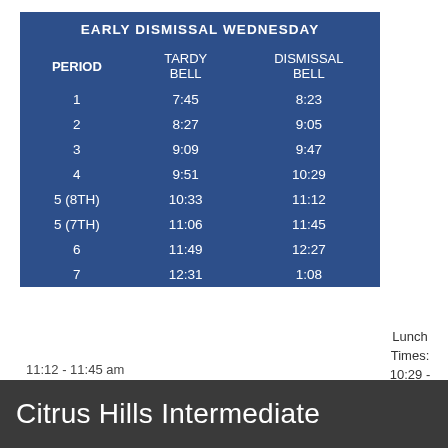| PERIOD | TARDY BELL | DISMISSAL BELL |
| --- | --- | --- |
| 1 | 7:45 | 8:23 |
| 2 | 8:27 | 9:05 |
| 3 | 9:09 | 9:47 |
| 4 | 9:51 | 10:29 |
| 5 (8TH) | 10:33 | 11:12 |
| 5 (7TH) | 11:06 | 11:45 |
| 6 | 11:49 | 12:27 |
| 7 | 12:31 | 1:08 |
Lunch Times: 10:29 - 11:02 am
11:12 - 11:45 am
Citrus Hills Intermediate